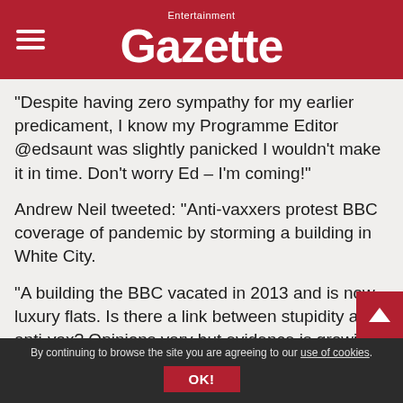Entertainment Gazette
“Despite having zero sympathy for my earlier predicament, I know my Programme Editor @edsaunt was slightly panicked I wouldn’t make it in time. Don’t worry Ed – I’m coming!”
Andrew Neil tweeted: “Anti-vaxxers protest BBC coverage of pandemic by storming a building in White City.
“A building the BBC vacated in 2013 and is now luxury flats. Is there a link between stupidity and anti-vax? Opinions vary but evidence is growing.”
Have you got a celebrity story? Email:
By continuing to browse the site you are agreeing to our use of cookies.